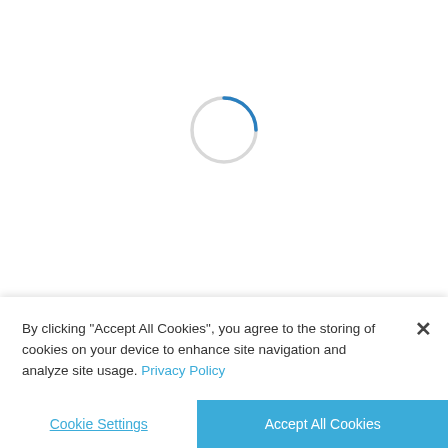[Figure (other): A circular loading spinner with a light gray ring and a small dark blue arc at the top right, indicating a page loading state.]
By clicking "Accept All Cookies", you agree to the storing of cookies on your device to enhance site navigation and analyze site usage. Privacy Policy
×
Cookie Settings
Accept All Cookies